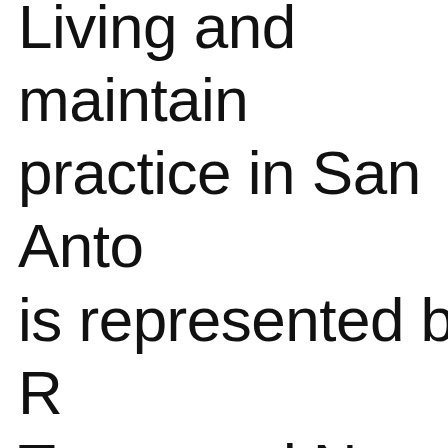Living and maintaining practice in San Antonio, is represented by R… Texas and New York. Her work can be found Museum of Fine Arts, well as numerous p… collections. The Hou… Contemporary Craft…